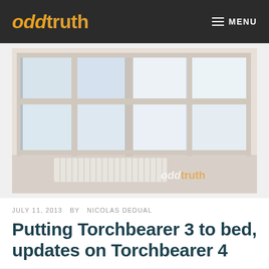oddtruth  MENU
[Figure (photo): Interior room photo showing large multi-pane windows with city buildings visible outside, a radiator below the windows, bright natural light. 'oddtruth' watermark in bottom right corner.]
JULY 11, 2013  BY  NICOLAS DEDUAL
Putting Torchbearer 3 to bed, updates on Torchbearer 4